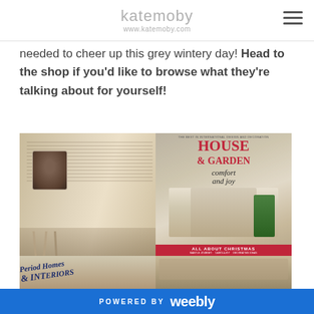katemoby www.katemoby.com
needed to cheer up this grey wintery day! Head to the shop if you'd like to browse what they're talking about for yourself!
[Figure (photo): Two magazine photos side by side: left shows an open magazine spread with a dog photo and article text, right shows the cover of House & Garden magazine with 'comfort and joy' tagline and 'ALL ABOUT CHRISTMAS' banner. Bottom row shows partial covers of Period Homes & Interiors magazine.]
POWERED BY weebly